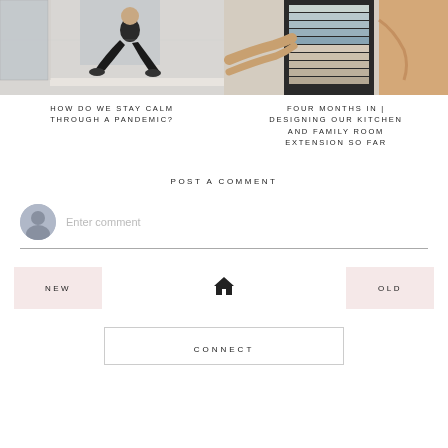[Figure (photo): Person sitting on a window ledge in dark clothing, cityscape background]
[Figure (photo): Hands holding color swatches/paint samples against a dark surface]
HOW DO WE STAY CALM THROUGH A PANDEMIC?
FOUR MONTHS IN | DESIGNING OUR KITCHEN AND FAMILY ROOM EXTENSION SO FAR
POST A COMMENT
Enter comment
NEW
OLD
CONNECT